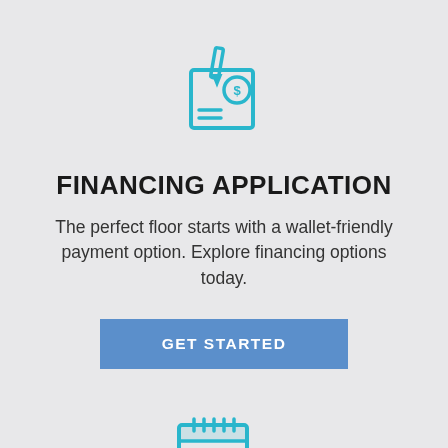[Figure (illustration): Cyan/teal outline icon of a check/document with a pen and dollar sign]
FINANCING APPLICATION
The perfect floor starts with a wallet-friendly payment option. Explore financing options today.
[Figure (illustration): Blue button labeled GET STARTED]
[Figure (illustration): Cyan/teal outline icon of a calendar with a clock overlapping at the bottom right]